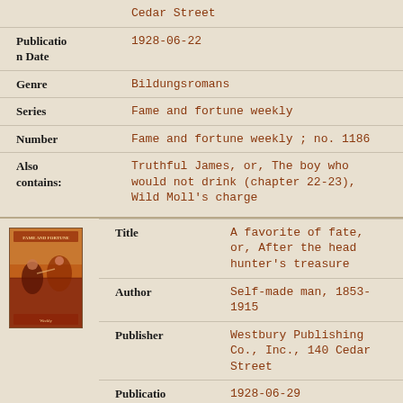| Field | Value |
| --- | --- |
|  | Cedar Street |
| Publication Date | 1928-06-22 |
| Genre | Bildungsromans |
| Series | Fame and fortune weekly |
| Number | Fame and fortune weekly ; no. 1186 |
| Also contains: | Truthful James, or, The boy who would not drink (chapter 22-23), Wild Moll's charge |
[Figure (illustration): Book cover illustration showing action scene with figures, colored in red and brown tones]
| Field | Value |
| --- | --- |
| Title | A favorite of fate, or, After the head hunter's treasure |
| Author | Self-made man, 1853-1915 |
| Publisher | Westbury Publishing Co., Inc., 140 Cedar Street |
| Publication Date | 1928-06-29 |